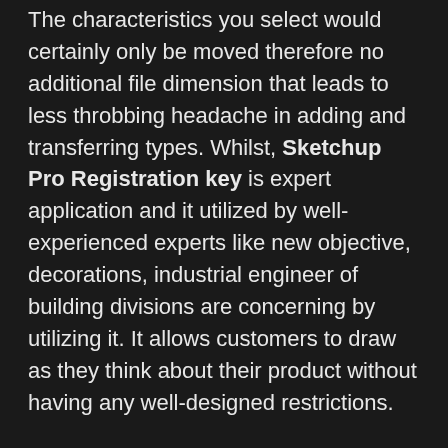The characteristics you select would certainly only be moved therefore no additional file dimension that leads to less throbbing headache in adding and transferring types. Whilst, Sketchup Pro Registration key is expert application and it utilized by well-experienced experts like new objective, decorations, industrial engineer of building divisions are concerning by utilizing it. It allows customers to draw as they think about their product without having any well-designed restrictions.
Google SketchUp Pro 2022 Crack is definitely one of the most well-known 3D creating an application. It is very useful for the creative designers and also constructors coming from the first phase of design and style to the final phase of the building.  You do not have for not working or hold off transforming or restricting your creativeness in accordance to some circumstances. They have an openness